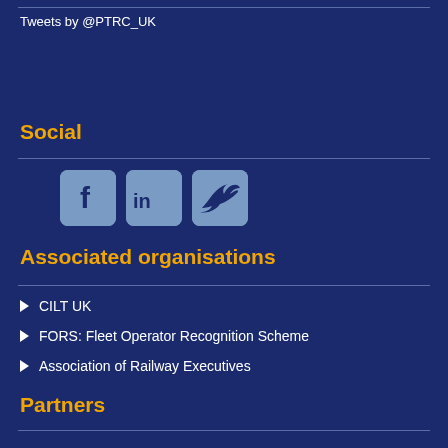Tweets by @PTRC_UK
Social
[Figure (illustration): Three social media icons: Facebook (f), LinkedIn (in), and Twitter/X bird logo, each in a rounded square with a steel-blue background]
Associated organisations
CILT UK
FORS: Fleet Operator Recognition Scheme
Association of Railway Executives
Partners